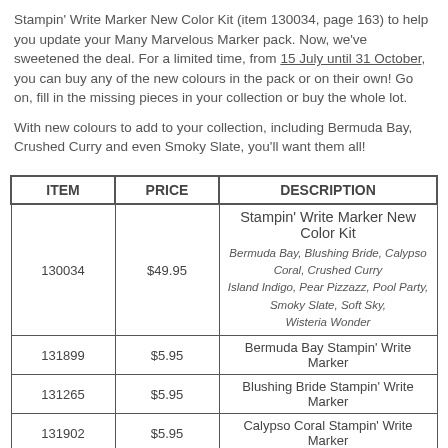Stampin' Write Marker New Color Kit (item 130034, page 163) to help you update your Many Marvelous Marker pack. Now, we've sweetened the deal. For a limited time, from 15 July until 31 October, you can buy any of the new colours in the pack or on their own! Go on, fill in the missing pieces in your collection or buy the whole lot.

With new colours to add to your collection, including Bermuda Bay, Crushed Curry and even Smoky Slate, you'll want them all!
| ITEM | PRICE | DESCRIPTION |
| --- | --- | --- |
| 130034 | $49.95 | Stampin' Write Marker New Color Kit
Bermuda Bay, Blushing Bride, Calypso Coral, Crushed Curry
Island Indigo, Pear Pizzazz, Pool Party, Smoky Slate, Soft Sky,
Wisteria Wonder |
| 131899 | $5.95 | Bermuda Bay Stampin' Write Marker |
| 131265 | $5.95 | Blushing Bride Stampin' Write Marker |
| 131902 | $5.95 | Calypso Coral Stampin' Write Marker |
| 131901 | $5.95 | Crushed Curry Stampin' Write Marker |